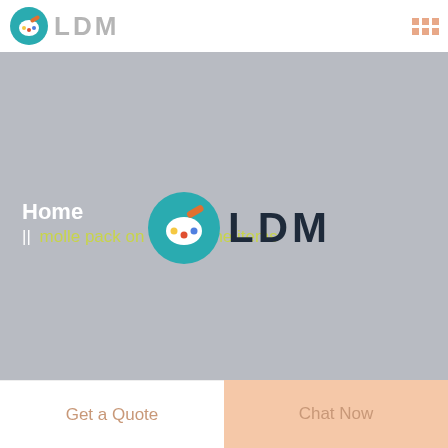[Figure (logo): LDM logo with palette icon and grey LDM text in header]
[Figure (illustration): Grey hero/banner section covering most of the page]
Home
|| molle pack on alice frame items
[Figure (logo): LDM logo with palette icon and dark LDM text centered in hero]
Get a Quote
Chat Now